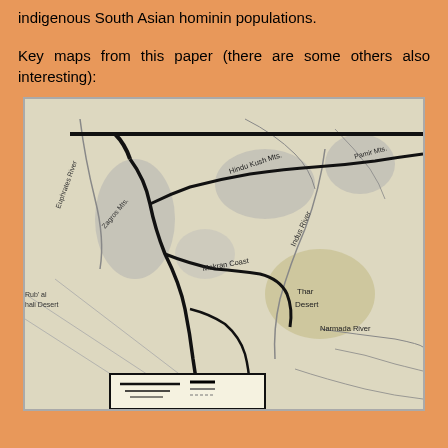indigenous South Asian hominin populations.
Key maps from this paper (there are some others also interesting):
[Figure (map): A geographic map showing South Asia and Middle East region with labels including Euphrates River, Zagros Mts., Hindu Kush Mts., Pamir Mts., Indus River, Makran Coast, Rub al Khali Desert, Thar Desert, Narmada River. Thick black lines indicate migration or boundary routes. Gray shaded areas represent mountainous or elevated terrain.]